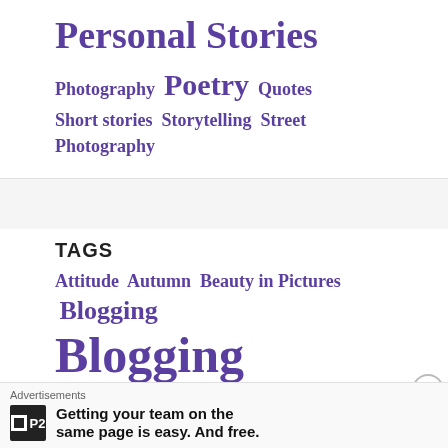Personal Stories
Photography  Poetry  Quotes  Short stories  Storytelling  Street Photography
TAGS
Attitude  Autumn  Beauty in Pictures  Blogging  Blogging  Blogging 101  Celebrations  Christianity  Cityscapes  Daily Nuggets
Advertisements
Getting your team on the same page is easy. And free.